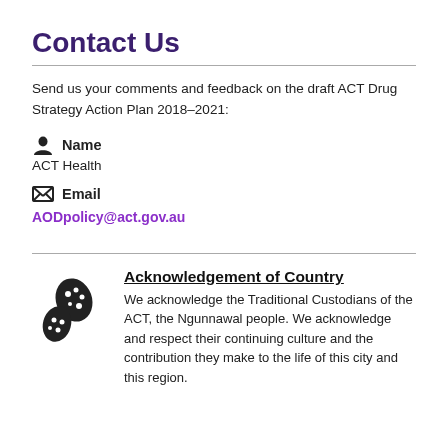Contact Us
Send us your comments and feedback on the draft ACT Drug Strategy Action Plan 2018–2021:
Name
ACT Health
Email
AODpolicy@act.gov.au
Acknowledgement of Country
We acknowledge the Traditional Custodians of the ACT, the Ngunnawal people. We acknowledge and respect their continuing culture and the contribution they make to the life of this city and this region.